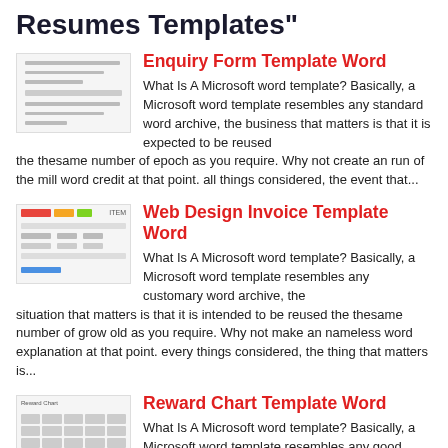Resumes Templates"
Enquiry Form Template Word
What Is A Microsoft word template? Basically, a Microsoft word template resembles any standard word archive, the business that matters is that it is expected to be reused the thesame number of epoch as you require. Why not create an run of the mill word credit at that point. all things considered, the event that...
Web Design Invoice Template Word
What Is A Microsoft word template? Basically, a Microsoft word template resembles any customary word archive, the situation that matters is that it is intended to be reused the thesame number of grow old as you require. Why not make an nameless word explanation at that point. every things considered, the thing that matters is...
Reward Chart Template Word
What Is A Microsoft word template? Basically, a Microsoft word template resembles any good enough word archive, the matter that matters is that it is expected to be reused...